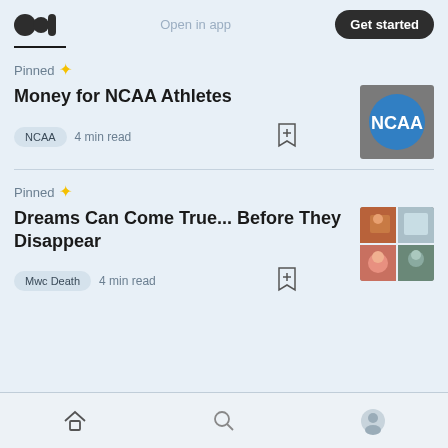Medium logo | Open in app | Get started
Pinned
Money for NCAA Athletes
NCAA  4 min read
[Figure (photo): NCAA logo sign - blue circle with white NCAA text]
Pinned
Dreams Can Come True... Before They Disappear
Mwc Death  4 min read
[Figure (photo): 4-photo collage thumbnail for article about dreams]
Home | Search | Profile